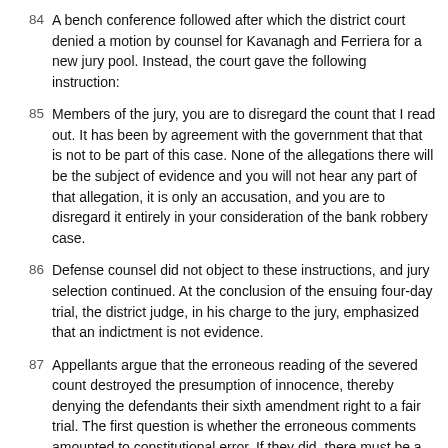84 A bench conference followed after which the district court denied a motion by counsel for Kavanagh and Ferriera for a new jury pool. Instead, the court gave the following instruction:
85 Members of the jury, you are to disregard the count that I read out. It has been by agreement with the government that that is not to be part of this case. None of the allegations there will be the subject of evidence and you will not hear any part of that allegation, it is only an accusation, and you are to disregard it entirely in your consideration of the bank robbery case.
86 Defense counsel did not object to these instructions, and jury selection continued. At the conclusion of the ensuing four-day trial, the district judge, in his charge to the jury, emphasized that an indictment is not evidence.
87 Appellants argue that the erroneous reading of the severed count destroyed the presumption of innocence, thereby denying the defendants their sixth amendment right to a fair trial. The first question is whether the erroneous comments amounted to constitutional error. If they did, there must be a new trial unless the government can show that the comments were harmless beyond a reasonable doubt. Chapman v. California, 386 U.S. 18, 22-24, 87